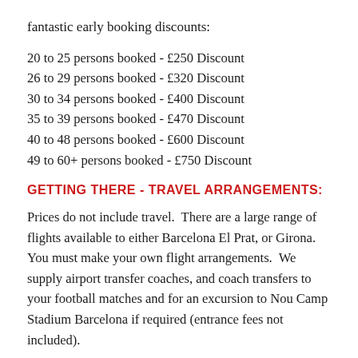fantastic early booking discounts:
20 to 25 persons booked - £250 Discount
26 to 29 persons booked - £320 Discount
30 to 34 persons booked - £400 Discount
35 to 39 persons booked - £470 Discount
40 to 48 persons booked - £600 Discount
49 to 60+ persons booked - £750 Discount
GETTING THERE - TRAVEL ARRANGEMENTS:
Prices do not include travel.  There are a large range of flights available to either Barcelona El Prat, or Girona.  You must make your own flight arrangements.  We supply airport transfer coaches, and coach transfers to your football matches and for an excursion to Nou Camp Stadium Barcelona if required (entrance fees not included).
Tournament info: